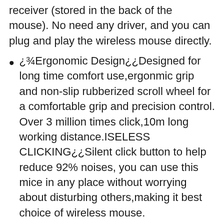receiver (stored in the back of the mouse). No need any driver, and you can plug and play the wireless mouse directly.
¡¾Ergonomic Design¡¿Designed for long time comfort use,ergonmic grip and non-slip rubberized scroll wheel for a comfortable grip and precision control. Over 3 million times click,10m long working distance.ISELESS CLICKING¡¿Silent click button to help reduce 92% noises, you can use this mice in any place without worrying about disturbing others,making it best choice of wireless mouse.
¡¾Auto Sleeping Function¡¿Bluetooth gaming mouse will be in sleeping mode If it is not used after 8 minutes